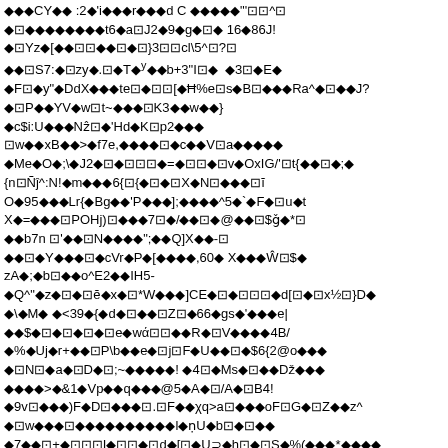◆◆◆CY◆◆ :2◆'i◆◆◆r◆◆◆d C ◆◆◆◆◆"'⊡⊡^⊡
◆⊡◆◆◆◆◆◆◆◆t6◆a⊡J2◆9◆g◆⊡◆ 16◆86J!
◆⊡Yz◆[◆◆⊡⊡◆◆⊡◆⊡}3⊡⊡cl\5^⊡?⊡
◆◆⊡S7:◆⊡zy◆.⊡◆T◆ʸ◆◆b+3"I⊡◆  ◆3⊡◆E◆
◆F⊡◆y"◆DdX◆◆◆te⊡◆⊡⊡[◆Ħ%e⊡s◆B⊡◆◆◆Ra^◆⊡◆◆J?
◆⊡P◆◆YV◆w⊡t~◆◆◆⊡K3◆◆w◆◆}
◆c$i:U◆◆◆Nẑ⊡◆'Hd◆K⊡p2◆◆◆
⊡w◆◆xB◆◆>◆f7e,◆◆◆◆⊡◆c◆◆V⊡a◆◆◆◆◆
◆Me◆O◆;\◆J2◆⊡◆⊡⊡⊡◆=◆⊡⊡◆⊡v◆OxIG/'⊡t{◆◆⊡◆;◆
{n⊡Ñĵ^:N!◆m◆◆◆6{⊡{◆⊡◆⊡X◆N⊡◆◆◆⊡ĭ
O◆95◆◆◆Lr{◆Bg◆◆'P◆◆◆];◆◆◆◆^5◆`◆F◆⊡u◆t
X◆=◆◆◆⊡POHj)⊡◆◆◆7⊡◆/◆◆⊡◆@◆◆⊡$ǧ◆*⊡
◆◆b7n ⊡'◆◆⊡N◆◆◆◆";◆◆Q]X◆◆-⊡
◆◆⊡◆Y◆◆◆⊡◆cVr◆P◆[◆◆◆◆,60◆ X◆◆◆Ŵ⊡$◆
zA◆;◆b⊡◆◆o^E2◆◆IH5-
◆Q^"◆z◆⊡◆⊡ĕ◆x◆⊡*W◆◆◆]CE◆⊡◆⊡⊡⊡◆d[⊡◆⊡x½⊡}D◆
◆\◆M◆ ◆<39◆{◆d◆⊡◆◆⊡Z⊡◆66◆gs◆'◆◆◆e|
◆◆$◆⊡◆⊡◆⊡◆⊡e◆wά⊡⊡◆◆R◆⊡V◆◆◆◆4B/
◆%◆Uj◆r+◆◆⊡P\b◆◆e◆⊡j⊡F◆U◆◆⊡◆$6{2@o◆◆◆
◆⊡N⊡◆a◆⊡D◆⊡;~◆◆◆◆◆! ◆4⊡◆Ms◆⊡◆◆Dž◆◆◆
◆◆◆◆>◆&1◆Vp◆◆q◆◆◆@5◆A◆⊡/A◆⊡B4!
◆9v⊡◆◆◆)F◆D⊡◆◆◆⊡.⊡F◆◆χq>a⊡◆◆◆oF⊡G◆⊡Z◆◆z^
◆⊡w◆◆◆⊡◆◆◆◆◆◆◆◆◆◆l◆ṇU◆b⊡◆⊡◆◆
◆7◆◆⊡+◆⊡⊡⊡I◆⊡⊡◆⊡d◆[⊡◆U⊃◆h⊡◆⊡S◆%(◆◆◆*◆◆◆◆